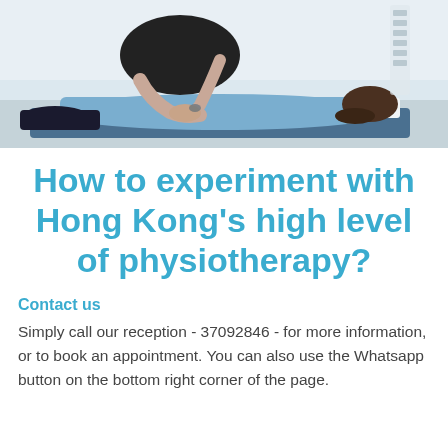[Figure (photo): A physiotherapist performing a back/shoulder treatment on a patient lying face down on a treatment table in a clinical setting.]
How to experiment with Hong Kong's high level of physiotherapy?
Contact us
Simply call our reception - 37092846 - for more information, or to book an appointment. You can also use the Whatsapp button on the bottom right corner of the page.